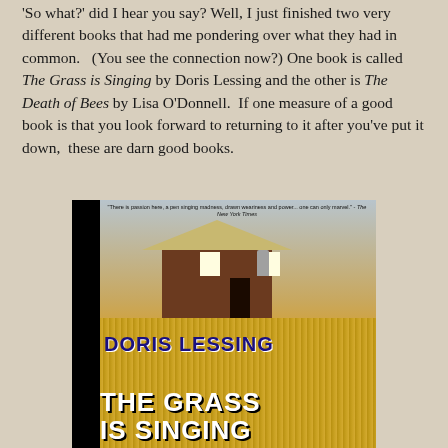'So what?' did I hear you say?  Well, I just finished two very different books that had me pondering over what they had in common.   (You see the connection now?)  One book is called The Grass is Singing by Doris Lessing and the other is The Death of Bees by Lisa O'Donnell.  If one measure of a good book is that you look forward to returning to it after you've put it down,  these are darn good books.
[Figure (photo): Book cover of 'The Grass is Singing' by Doris Lessing. Shows a farmhouse/barn with a metal roof in a grassy field. The author name 'DORIS LESSING' appears in dark blue bold text and the title 'THE GRASS IS SINGING' appears in large white bold text. A short blurb quote appears at the top.]